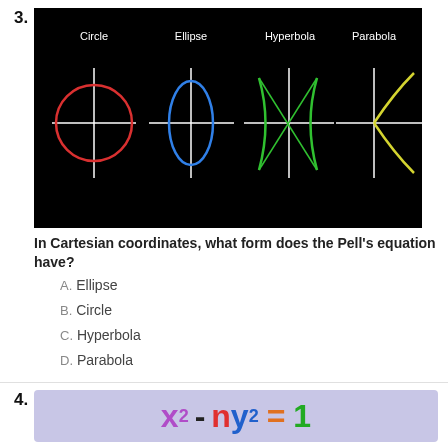3.
[Figure (illustration): Black background image showing four conic sections labeled: Circle (red circle with crosshairs), Ellipse (blue ellipse with crosshairs), Hyperbola (green hyperbola curves with crosshairs), Parabola (yellow parabola with crosshairs)]
In Cartesian coordinates, what form does the Pell's equation have?
A.  Ellipse
B.  Circle
C.  Hyperbola
D.  Parabola
4.
[Figure (math-figure): Lavender/purple background box showing the Pell equation: x² - ny² = 1, where x is purple, n is red, y is blue, = is orange, 1 is green]